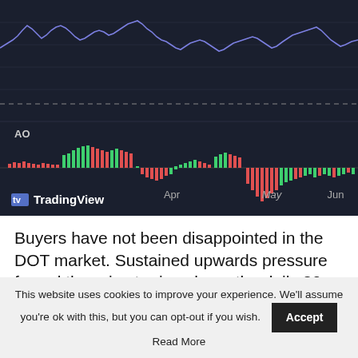[Figure (continuous-plot): TradingView chart showing a price line chart (top, blue/purple line) and an Awesome Oscillator (AO) histogram (bottom, green and red bars) from April to June. X-axis labels: Apr, May, Jun. Label 'AO' shown in upper left of oscillator panel.]
Buyers have not been disappointed in the DOT market. Sustained upwards pressure forced the price to rise above the daily 20-SMA (red) and 50-SMA (yellow), both of which are often used to gauge
This website uses cookies to improve your experience. We'll assume you're ok with this, but you can opt-out if you wish. Accept Read More